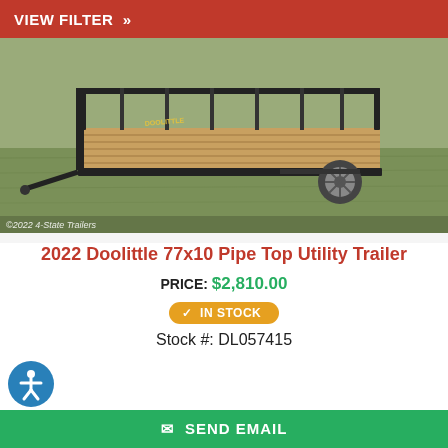VIEW FILTER »
[Figure (photo): Photo of a 2022 Doolittle 77x10 Pipe Top Utility Trailer with wood deck and black steel pipe top rails, parked on grass. Watermark reads ©2022 4-State Trailers.]
2022 Doolittle 77x10 Pipe Top Utility Trailer
PRICE: $2,810.00
✔ IN STOCK
Stock #: DL057415
[Figure (illustration): Blue circular accessibility icon (person with arms out).]
✉ SEND EMAIL